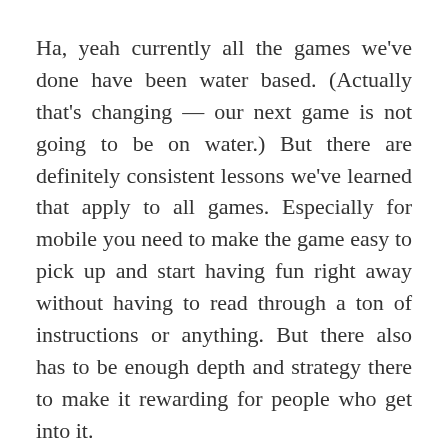Ha, yeah currently all the games we've done have been water based.  (Actually that's changing — our next game is not going to be on water.)  But there are definitely consistent lessons we've learned that apply to all games.  Especially for mobile you need to make the game easy to pick up and start having fun right away without having to read through a ton of instructions or anything.  But there also has to be enough depth and strategy there to make it rewarding for people who get into it.
With the announcement of Tegra 3, many developers are jumping aboard and announcing a number of games. Asides from the great update to Riptide does Vector Unit have any plans for Tegra 3?
Definitely.  We've already released upgrades for Riptide GP and Shine Runner that take advantage of the Tegra 3 graphics.  And our next game is going to have a lot more